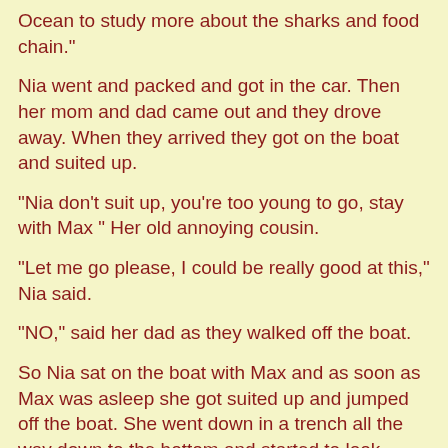Ocean to study more about the sharks and food chain."
Nia went and packed and got in the car. Then her mom and dad came out and they drove away. When they arrived they got on the boat and suited up.
"Nia don't suit up, you're too young to go, stay with Max " Her old annoying cousin.
"Let me go please, I could be really good at this," Nia said.
"NO," said her dad as they walked off the boat.
So Nia sat on the boat with Max and as soon as Max was asleep she got suited up and jumped off the boat. She went down in a trench all the way down to the bottom and started to look around. She looked around for some animals. She saw none so she swam up to the top and swam over the long wide trench. Then she saw the big hammer shark.
Her mine went blank - what should she do? "If I